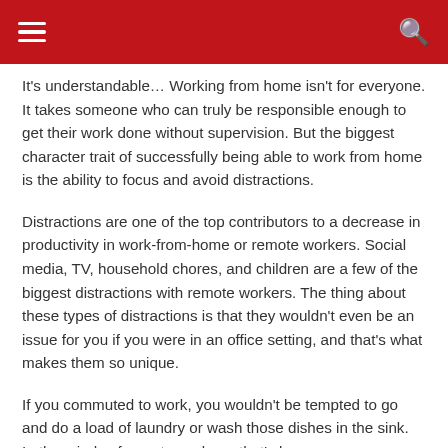It's understandable… Working from home isn't for everyone. It takes someone who can truly be responsible enough to get their work done without supervision. But the biggest character trait of successfully being able to work from home is the ability to focus and avoid distractions.
Distractions are one of the top contributors to a decrease in productivity in work-from-home or remote workers. Social media, TV, household chores, and children are a few of the biggest distractions with remote workers. The thing about these types of distractions is that they wouldn't even be an issue for you if you were in an office setting, and that's what makes them so unique.
If you commuted to work, you wouldn't be tempted to go and do a load of laundry or wash those dishes in the sink.  In the minds of remote workers, that's how